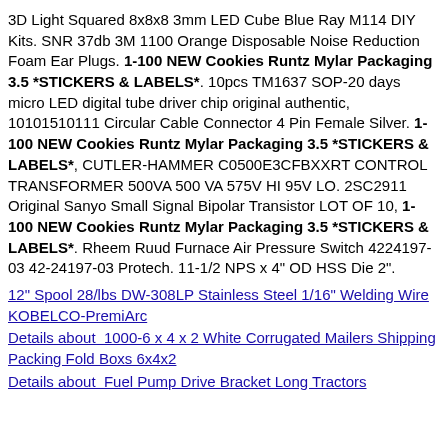3D Light Squared 8x8x8 3mm LED Cube Blue Ray M114 DIY Kits. SNR 37db 3M 1100 Orange Disposable Noise Reduction Foam Ear Plugs. 1-100 NEW Cookies Runtz Mylar Packaging 3.5 *STICKERS & LABELS*. 10pcs TM1637 SOP-20 days micro LED digital tube driver chip original authentic, 10101510111 Circular Cable Connector 4 Pin Female Silver. 1-100 NEW Cookies Runtz Mylar Packaging 3.5 *STICKERS & LABELS*, CUTLER-HAMMER C0500E3CFBXXRT CONTROL TRANSFORMER 500VA 500 VA 575V HI 95V LO. 2SC2911 Original Sanyo Small Signal Bipolar Transistor LOT OF 10, 1-100 NEW Cookies Runtz Mylar Packaging 3.5 *STICKERS & LABELS*. Rheem Ruud Furnace Air Pressure Switch 4224197-03 42-24197-03 Protech. 11-1/2 NPS x 4" OD HSS Die 2".
12" Spool 28/lbs DW-308LP Stainless Steel 1/16" Welding Wire KOBELCO-PremiArc
Details about  1000-6 x 4 x 2 White Corrugated Mailers Shipping Packing Fold Boxs 6x4x2
Details about  Fuel Pump Drive Bracket Long Tractors